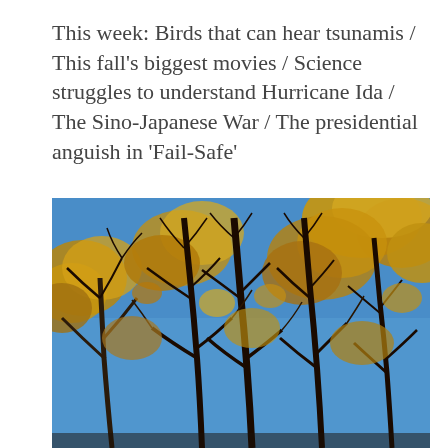This week: Birds that can hear tsunamis / This fall's biggest movies / Science struggles to understand Hurricane Ida / The Sino-Japanese War / The presidential anguish in 'Fail-Safe'
[Figure (photo): Upward-looking photograph of tree branches with autumn golden/orange foliage against a clear blue sky]